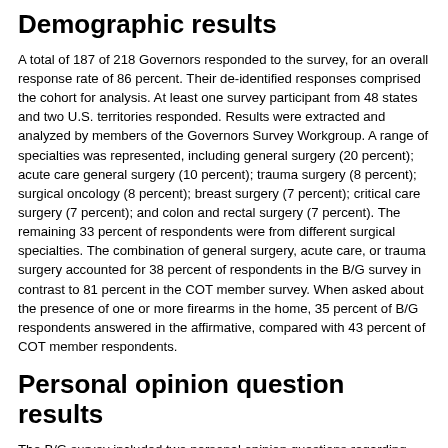Demographic results
A total of 187 of 218 Governors responded to the survey, for an overall response rate of 86 percent. Their de-identified responses comprised the cohort for analysis. At least one survey participant from 48 states and two U.S. territories responded. Results were extracted and analyzed by members of the Governors Survey Workgroup. A range of specialties was represented, including general surgery (20 percent); acute care general surgery (10 percent); trauma surgery (8 percent); surgical oncology (8 percent); breast surgery (7 percent); critical care surgery (7 percent); and colon and rectal surgery (7 percent). The remaining 33 percent of respondents were from different surgical specialties. The combination of general surgery, acute care, or trauma surgery accounted for 38 percent of respondents in the B/G survey in contrast to 81 percent in the COT member survey. When asked about the presence of one or more firearms in the home, 35 percent of B/G respondents answered in the affirmative, compared with 43 percent of COT member respondents.
Personal opinion question results
The B/G survey included two personal opinion questions regarding firearms, which also were part of the COT member survey. The first question sought the respondents' opinion regarding the general benefit (or lack of benefit) of firearm